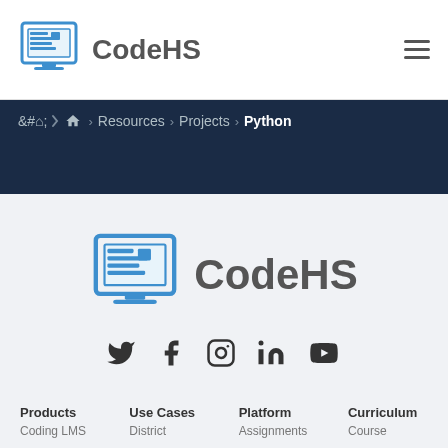CodeHS
Home > Resources > Projects > Python
[Figure (logo): CodeHS logo large centered with computer monitor icon and text 'CodeHS']
[Figure (infographic): Social media icons row: Twitter, Facebook, Instagram, LinkedIn, YouTube]
Products
Coding LMS
Use Cases
District
Platform
Assignments
Curriculum
Course